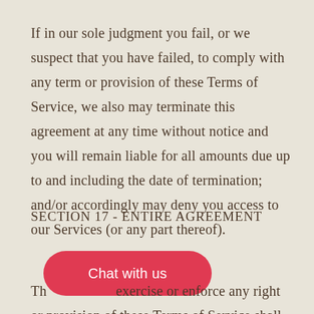If in our sole judgment you fail, or we suspect that you have failed, to comply with any term or provision of these Terms of Service, we also may terminate this agreement at any time without notice and you will remain liable for all amounts due up to and including the date of termination; and/or accordingly may deny you access to our Services (or any part thereof).
SECTION 17 - ENTIRE AGREEMENT
Th[e failure of us to] exercise or enforce any right or provision of these Terms of Service shall not constitute a